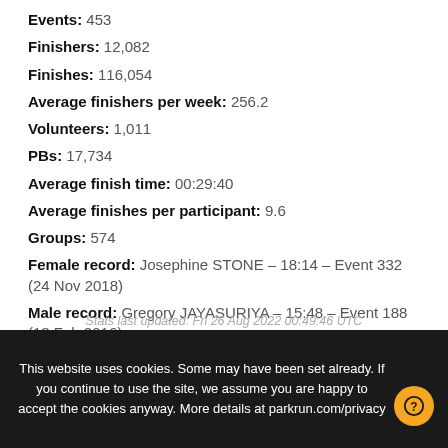Events: 453
Finishers: 12,082
Finishes: 116,054
Average finishers per week: 256.2
Volunteers: 1,011
PBs: 17,734
Average finish time: 00:29:40
Average finishes per participant: 9.6
Groups: 574
Female record: Josephine STONE – 18:14 – Event 332 (24 Nov 2018)
Male record: Gregory JAYASURIYA – 15:48 – Event 188 (13 Feb 2016)
Age graded record: Linda RUSSELL-BOND - 89.43% 23:01 – Event 407 (18 Sep 2021)
Stats last updated: Fri 26 Aug 2022 00:49:46 UTC
This website uses cookies. Some may have been set already. If you continue to use the site, we assume you are happy to accept the cookies anyway. More details at parkrun.com/privacy